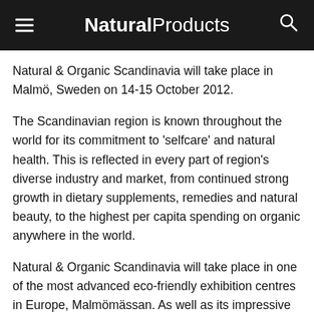Natural Products
Natural & Organic Scandinavia will take place in Malmö, Sweden on 14-15 October 2012.
The Scandinavian region is known throughout the world for its commitment to 'selfcare' and natural health. This is reflected in every part of region's diverse industry and market, from continued strong growth in dietary supplements, remedies and natural beauty, to the highest per capita spending on organic anywhere in the world.
Natural & Organic Scandinavia will take place in one of the most advanced eco-friendly exhibition centres in Europe, Malmömässan. As well as its impressive eco credentials — including a naturally insulating and habitat creating grass roof — this first class exhibition facility is also situated